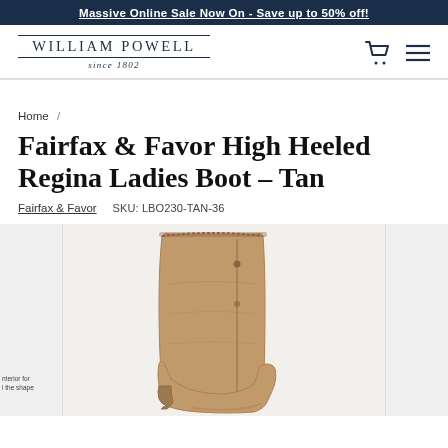Massive Online Sale Now On - Save up to 50% off!
[Figure (logo): William Powell since 1802 logo with cart and menu icons]
Home /
Fairfax & Favor High Heeled Regina Ladies Boot – Tan
Fairfax & Favor   SKU: LBO230-TAN-36
[Figure (photo): Tan high heeled Regina ladies boot by Fairfax & Favor, shown upright against a light background. Partial side note text visible at lower left.]